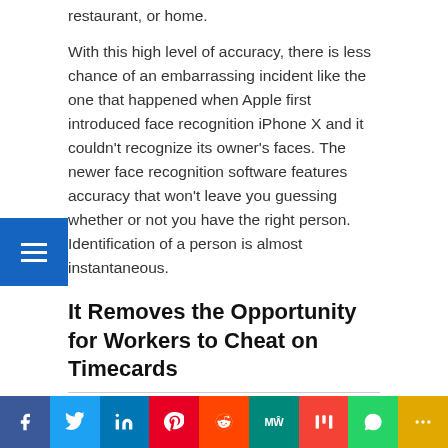who has entered your company's building, restaurant, or home.
With this high level of accuracy, there is less chance of an embarrassing incident like the one that happened when Apple first introduced face recognition iPhone X and it couldn't recognize its owner's faces. The newer face recognition software features accuracy that won't leave you guessing whether or not you have the right person. Identification of a person is almost instantaneous.
It Removes the Opportunity for Workers to Cheat on Timecards
Perhaps one of the most money-saving aspects of